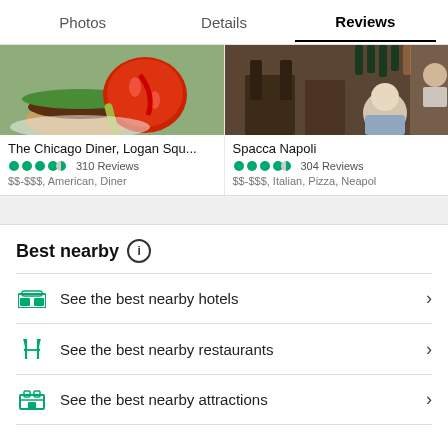Photos  Details  Reviews
[Figure (photo): Food photo showing burger with lettuce, tomato and pickle on white plate]
The Chicago Diner, Logan Squ...
310 Reviews
$$-$$$, American, Diner
[Figure (photo): Interior of restaurant with wooden chairs and tables, man seated in foreground]
Spacca Napoli
304 Reviews
$$-$$$, Italian, Pizza, Neapol
Best nearby
See the best nearby hotels
See the best nearby restaurants
See the best nearby attractions